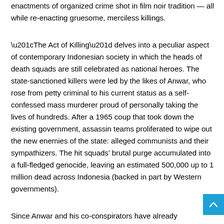enactments of organized crime shot in film noir tradition — all while re-enacting gruesome, merciless killings.
“The Act of Killing” delves into a peculiar aspect of contemporary Indonesian society in which the heads of death squads are still celebrated as national heroes. The state-sanctioned killers were led by the likes of Anwar, who rose from petty criminal to his current status as a self-confessed mass murderer proud of personally taking the lives of hundreds. After a 1965 coup that took down the existing government, assassin teams proliferated to wipe out the new enemies of the state: alleged communists and their sympathizers. The hit squads’ brutal purge accumulated into a full-fledged genocide, leaving an estimated 500,000 up to 1 million dead across Indonesia (backed in part by Western governments).
Since Anwar and his co-conspirators have already...